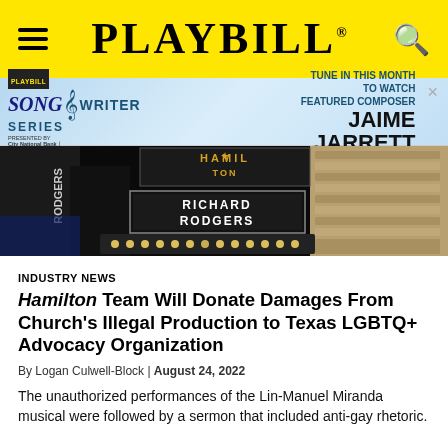PLAYBILL
[Figure (infographic): Playbill Songwriter Series advertisement featuring City National Bank, with text: TUNE IN THIS MONTH TO WATCH FEATURED COMPOSER JAIME JARRETT]
[Figure (photo): Nighttime photo of Richard Rodgers Theatre marquee with Hamilton signage lit up]
INDUSTRY NEWS
Hamilton Team Will Donate Damages From Church's Illegal Production to Texas LGBTQ+ Advocacy Organization
By Logan Culwell-Block | August 24, 2022
The unauthorized performances of the Lin-Manuel Miranda musical were followed by a sermon that included anti-gay rhetoric.